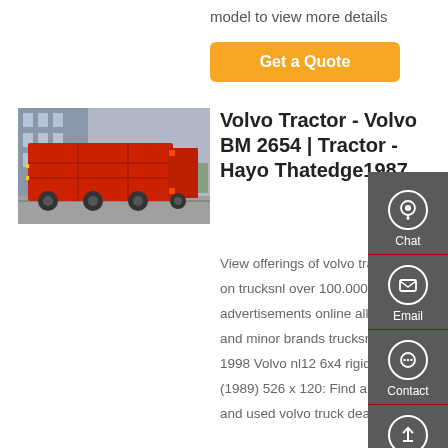model to view more details
[Figure (other): Orange 'Get a Quote' button]
[Figure (photo): Red Volvo semi-truck/trailer photographed from the rear-side in a parking area with buildings in background]
Volvo Tractor - Volvo BM 2654 | Tractor - Hayo Thatedge1987
View offerings of volvo tractor units on trucksnl over 100.000 advertisements online all major and minor brands trucksnl since 1998 Volvo nl12 6x4 rigid truck (1989) 526 x 120: Find a local new and used volvo truck dealer